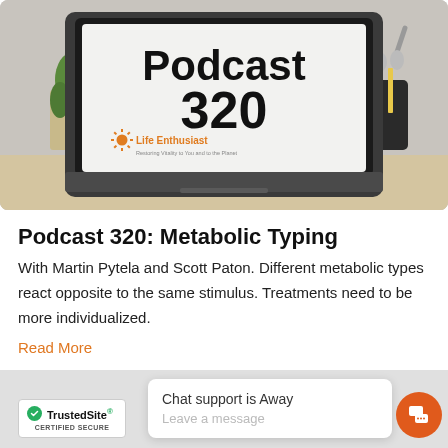[Figure (photo): Laptop computer on a desk showing 'Podcast 320' on its screen with Life Enthusiast logo, surrounded by a cactus plant, scissors in a holder, and a notebook]
Podcast 320: Metabolic Typing
With Martin Pytela and Scott Paton. Different metabolic types react opposite to the same stimulus. Treatments need to be more individualized.
Read More
[Figure (logo): TrustedSite Certified Secure badge]
Chat support is Away
Leave a message